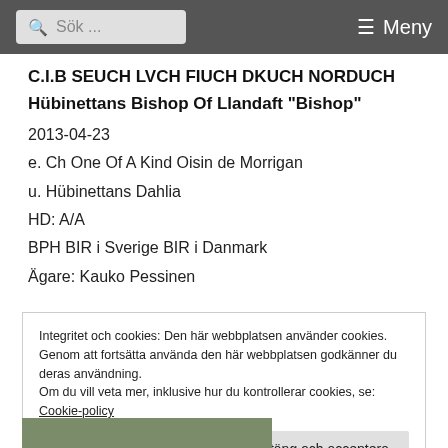Sök ... Meny
C.I.B SEUCH LVCH FIUCH DKUCH NORDUCH Hübinettans Bishop Of Llandaft "Bishop"
2013-04-23
e. Ch One Of A Kind Oisin de Morrigan
u. Hübinettans Dahlia
HD: A/A
BPH BIR i Sverige BIR i Danmark
Ägare: Kauko Pessinen
Integritet och cookies: Den här webbplatsen använder cookies. Genom att fortsätta använda den här webbplatsen godkänner du deras användning. Om du vill veta mer, inklusive hur du kontrollerar cookies, se: Cookie-policy
Stäng och acceptera